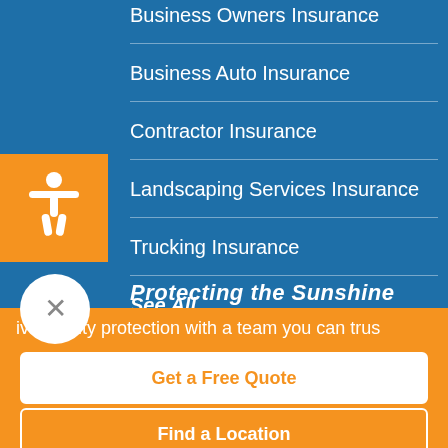Business Owners Insurance
Business Auto Insurance
Contractor Insurance
Landscaping Services Insurance
Trucking Insurance
See All
Protecting the Sunshine
ive quality protection with a team you can trus
Get a Free Quote
Find a Location